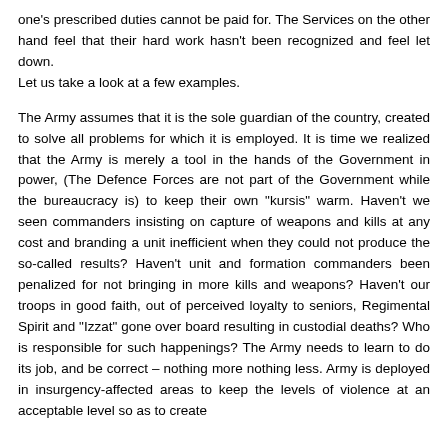one's prescribed duties cannot be paid for. The Services on the other hand feel that their hard work hasn't been recognized and feel let down.
Let us take a look at a few examples.

The Army assumes that it is the sole guardian of the country, created to solve all problems for which it is employed. It is time we realized that the Army is merely a tool in the hands of the Government in power, (The Defence Forces are not part of the Government while the bureaucracy is) to keep their own "kursis" warm. Haven't we seen commanders insisting on capture of weapons and kills at any cost and branding a unit inefficient when they could not produce the so-called results? Haven't unit and formation commanders been penalized for not bringing in more kills and weapons? Haven't our troops in good faith, out of perceived loyalty to seniors, Regimental Spirit and "Izzat" gone over board resulting in custodial deaths? Who is responsible for such happenings? The Army needs to learn to do its job, and be correct – nothing more nothing less. Army is deployed in insurgency-affected areas to keep the levels of violence at an acceptable level so as to create